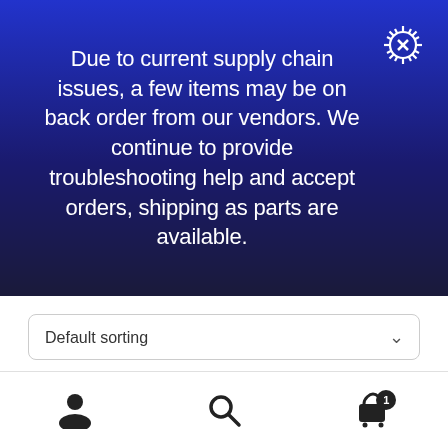Due to current supply chain issues, a few items may be on back order from our vendors. We continue to provide troubleshooting help and accept orders, shipping as parts are available.
[Figure (screenshot): Default sorting dropdown selector with chevron]
Showing 1–12 of 101 results
[Figure (infographic): Bottom navigation bar with user/account icon, search icon, and cart icon with badge showing 1 item]